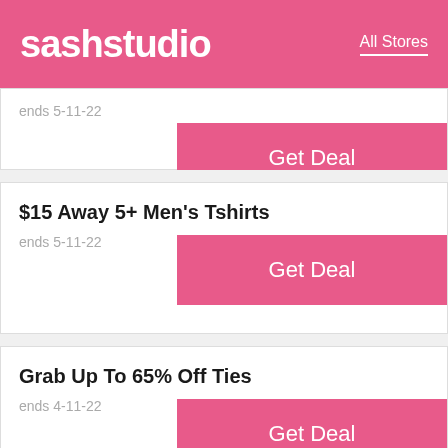sashstudio — All Stores
ends 5-11-22
$15 Away 5+ Men's Tshirts
ends 5-11-22
Grab Up To 65% Off Ties
ends 4-11-22